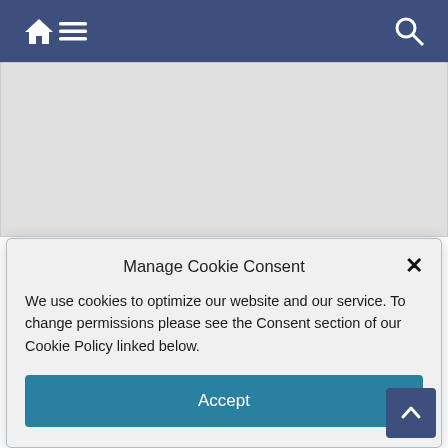Navigation bar with home, menu, and search icons
[Figure (screenshot): Cookie consent modal dialog with title 'Manage Cookie Consent', close X button, body text about cookies, and Accept button]
way to visit Mexico.
By not having to get an FMT you save $15.00! Not to mention posting of bond for your vehicle and the of the vehicle permit (another $12)! Crossing by foot